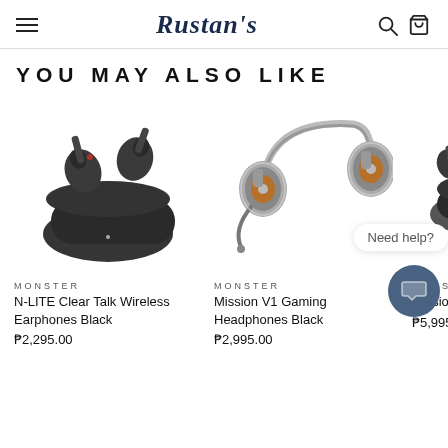Rustan's
YOU MAY ALSO LIKE
[Figure (photo): Monster N-LITE Clear Talk Wireless Earphones Black — black TWS earbuds in charging case]
MONSTER
N-LITE Clear Talk Wireless Earphones Black
₱2,295.00
[Figure (photo): Monster Mission V1 Gaming Headphones Black — over-ear gaming headset with orange LED accents]
MONSTER
Mission V1 Gaming Headphones Black
₱2,995.00
[Figure (photo): Monster Mission V1 TWS Earphones Black — partially visible product image]
MONSTER
Mission V1 TWS Earphones Blac…
₱5,995.00